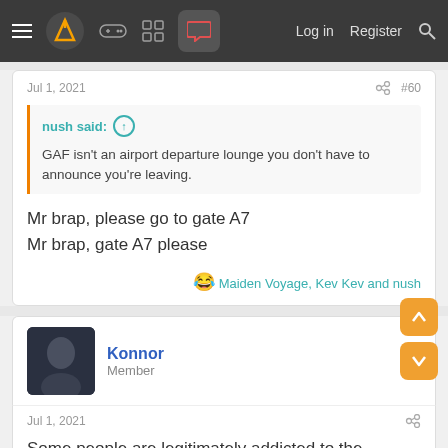≡ [logo] [gamepad] [grid] [chat] Log in  Register  🔍
Jul 1, 2021   #60
nush said: ↑
GAF isn't an airport departure lounge you don't have to announce you're leaving.
Mr brap, please go to gate A7
Mr brap, gate A7 please
😂 Maiden Voyage, Kev Kev and nush
Konnor
Member
Jul 1, 2021
Some people are legitimately addicted to the internet but I